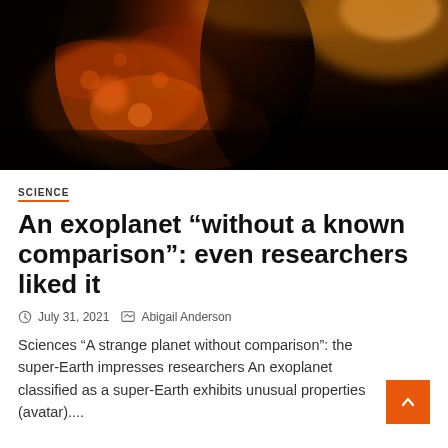[Figure (photo): Space image showing a glowing rocky planet or exoplanet against a dark background with orange and golden hues, backlit by a star.]
SCIENCE
An exoplanet “without a known comparison”: even researchers liked it
July 31, 2021   Abigail Anderson
Sciences “A strange planet without comparison”: the super-Earth impresses researchers An exoplanet classified as a super-Earth exhibits unusual properties (avatar)....